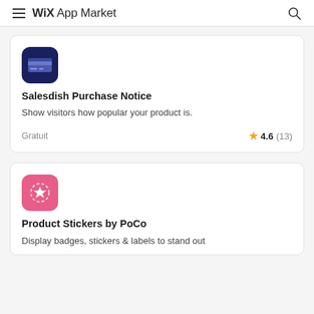WiX App Market
[Figure (screenshot): Salesdish Purchase Notice app icon — dark navy blue rounded square with a stylized credit card/notification graphic]
Salesdish Purchase Notice
Show visitors how popular your product is.
Gratuit   ★ 4.6 (13)
[Figure (screenshot): Product Stickers by PoCo app icon — pink/hot-pink rounded square with a star badge/sticker graphic]
Product Stickers by PoCo
Display badges, stickers & labels to stand out